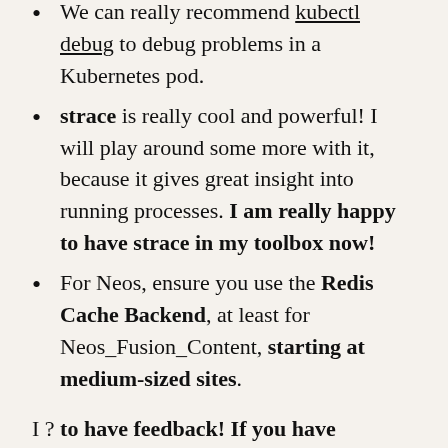We can really recommend kubectl debug to debug problems in a Kubernetes pod.
strace is really cool and powerful! I will play around some more with it, because it gives great insight into running processes. I am really happy to have strace in my toolbox now!
For Neos, ensure you use the Redis Cache Backend, at least for Neos_Fusion_Content, starting at medium-sized sites.
I ? to have feedback! If you have questions or other great tools you want to share, find me most easily on twitter @skurfuerst.
Hope you had fun reading this, as much fun